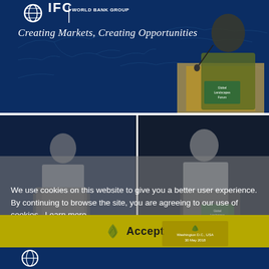[Figure (photo): A man speaking at a podium at an IFC World Bank Group event. The backdrop reads 'IFC | WORLD BANK GROUP' and 'Creating Markets, Creating Opportunities'. The speaker wears a patterned shirt with an orange lanyard.]
[Figure (photo): Two side-by-side photos of women speaking at podiums at a Global Landscapes Forum event, overlaid with a cookie consent banner reading 'We use cookies on this website to give you a better user experience. By continuing to browse the site, you are agreeing to our use of cookies. Learn more' and an 'Accept' button.]
We use cookies on this website to give you a better user experience. By continuing to browse the site, you are agreeing to our use of cookies.  Learn more
[Figure (photo): Partially visible bottom strip showing another conference photo with IFC/landscape forum branding.]